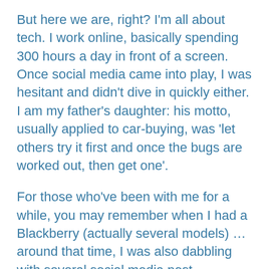But here we are, right? I'm all about tech. I work online, basically spending 300 hours a day in front of a screen. Once social media came into play, I was hesitant and didn't dive in quickly either. I am my father's daughter: his motto, usually applied to car-buying, was 'let others try it first and once the bugs are worked out, then get one'.
For those who've been with me for a while, you may remember when I had a Blackberry (actually several models) … around that time, I was also dabbling with several social media post management programs. I used them for a while but then they went away or became cost-prohibitive. I hadn't used one in longer than I can remember.